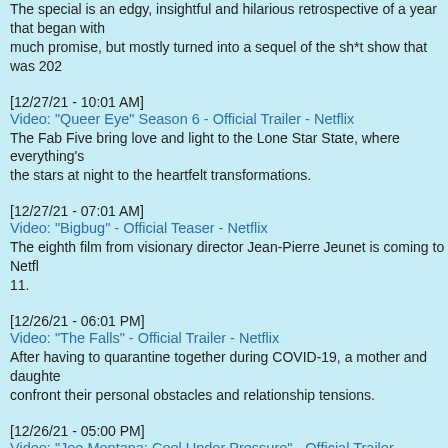The special is an edgy, insightful and hilarious retrospective of a year that began with much promise, but mostly turned into a sequel of the sh*t show that was 2020.
[12/27/21 - 10:01 AM]
Video: "Queer Eye" Season 6 - Official Trailer - Netflix
The Fab Five bring love and light to the Lone Star State, where everything's big from the stars at night to the heartfelt transformations.
[12/27/21 - 07:01 AM]
Video: "Bigbug" - Official Teaser - Netflix
The eighth film from visionary director Jean-Pierre Jeunet is coming to Netflix February 11.
[12/26/21 - 06:01 PM]
Video: "The Falls" - Official Trailer - Netflix
After having to quarantine together during COVID-19, a mother and daughter must confront their personal obstacles and relationship tensions.
[12/26/21 - 05:00 PM]
Video: "Joe Montana: Cool Under Pressure" - Official Trailer - Peacock Original
The six-part sports documentary series will premiere on January 6 with new episodes premiering weekly.
[12/26/21 - 10:00 AM]
Video: OWN Debuts Official Key Art and Trailer for New Drama "The Kings of"
The series features Ebonée Noel who plays August King, the middle sibling of the family's brilliant marketing whiz who's passionate about wine and always looking for ways to expand the business.